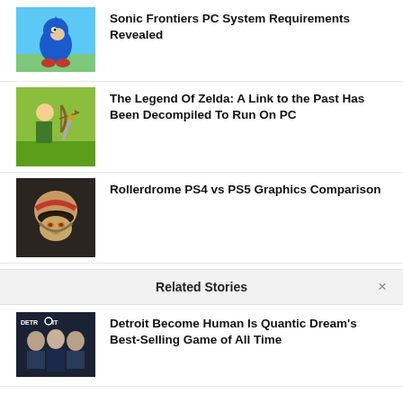[Figure (photo): Sonic the Hedgehog game screenshot thumbnail]
Sonic Frontiers PC System Requirements Revealed
[Figure (photo): The Legend of Zelda game screenshot thumbnail]
The Legend Of Zelda: A Link to the Past Has Been Decompiled To Run On PC
[Figure (photo): Rollerdrome game screenshot thumbnail]
Rollerdrome PS4 vs PS5 Graphics Comparison
Related Stories
[Figure (photo): Detroit Become Human game thumbnail]
Detroit Become Human Is Quantic Dream's Best-Selling Game of All Time